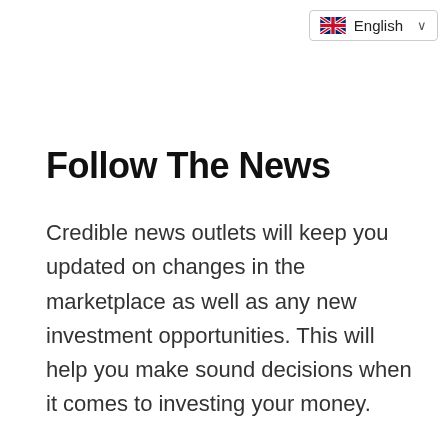[Figure (other): UK flag icon with English language selector dropdown]
Follow The News
Credible news outlets will keep you updated on changes in the marketplace as well as any new investment opportunities. This will help you make sound decisions when it comes to investing your money.
Following the news is a great way to stay informed about what's happening in the world of finance and it...